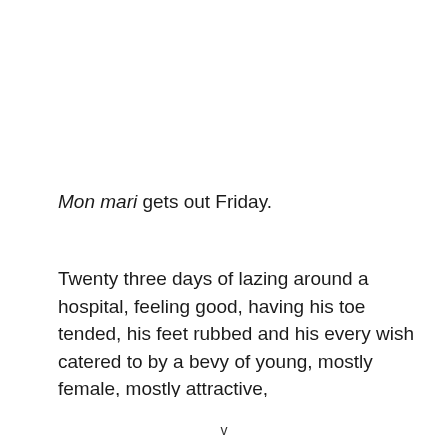Mon mari gets out Friday.
Twenty three days of lazing around a hospital, feeling good, having his toe tended, his feet rubbed and his every wish catered to by a bevy of young, mostly female, mostly attractive, [French nurses — text cut off]
v